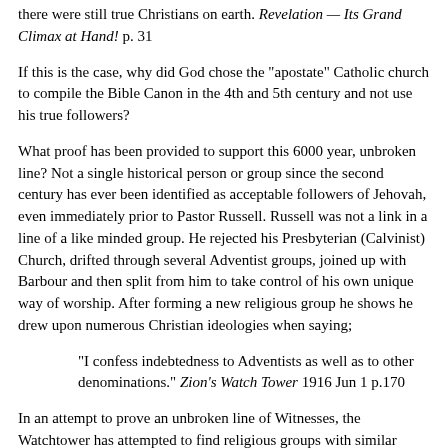there were still true Christians on earth. Revelation — Its Grand Climax at Hand! p. 31
If this is the case, why did God chose the "apostate" Catholic church to compile the Bible Canon in the 4th and 5th century and not use his true followers?
What proof has been provided to support this 6000 year, unbroken line? Not a single historical person or group since the second century has ever been identified as acceptable followers of Jehovah, even immediately prior to Pastor Russell. Russell was not a link in a line of a like minded group. He rejected his Presbyterian (Calvinist) Church, drifted through several Adventist groups, joined up with Barbour and then split from him to take control of his own unique way of worship. After forming a new religious group he shows he drew upon numerous Christian ideologies when saying;
"I confess indebtedness to Adventists as well as to other denominations." Zion's Watch Tower 1916 Jun 1 p.170
In an attempt to prove an unbroken line of Witnesses, the Watchtower has attempted to find religious groups with similar beliefs from prior centuries, occasionally discussing these groups